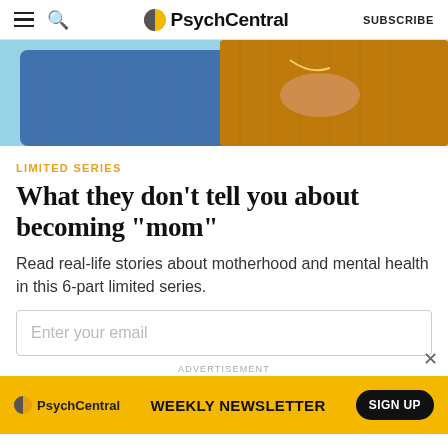PsychCentral | SUBSCRIBE
[Figure (photo): Close-up photo of two people hugging — one in a blue denim jacket, one in a mustard/orange knit sweater, with flowers visible in the background]
LIMITED SERIES
What they don't tell you about becoming "mom"
Read real-life stories about motherhood and mental health in this 6-part limited series.
Enter your email
ADVERTISEMENT
[Figure (infographic): PsychCentral Weekly Newsletter advertisement banner in yellow/gold with logo, 'WEEKLY NEWSLETTER' text, and 'SIGN UP' button]